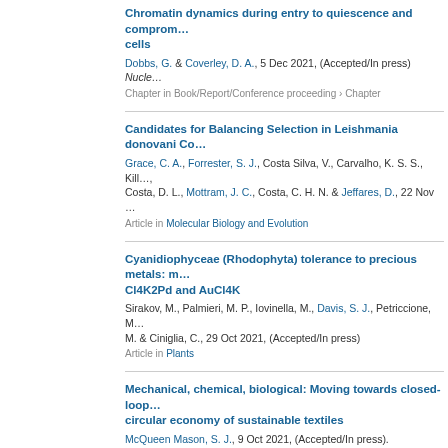Chromatin dynamics during entry to quiescence and compromise cells. Dobbs, G. & Coverley, D. A., 5 Dec 2021, (Accepted/In press) Nucle... Chapter in Book/Report/Conference proceeding › Chapter
Candidates for Balancing Selection in Leishmania donovani Co... Grace, C. A., Forrester, S. J., Costa Silva, V., Carvalho, K. S. S., Kill..., Costa, D. L., Mottram, J. C., Costa, C. H. N. & Jeffares, D., 22 Nov ... Article in Molecular Biology and Evolution
Cyanidiophyceae (Rhodophyta) tolerance to precious metals: m... Cl4K2Pd and AuCl4K. Sirakov, M., Palmieri, M. P., Iovinella, M., Davis, S. J., Petriccione, M., M. & Ciniglia, C., 29 Oct 2021, (Accepted/In press). Article in Plants
Mechanical, chemical, biological: Moving towards closed-loop circular economy of sustainable textiles. McQueen Mason, S. J., 9 Oct 2021, (Accepted/In press). Contribution to conference › Paper › peer-review
Translation of mechanical strain to a scalable biomanufacturing... matrix production from full thickness porcine bladder. Ward, A., Morgante, D., Fisher, J., Ingham, E. & Southgate, J., 28 S... Article in Biomedical Materials